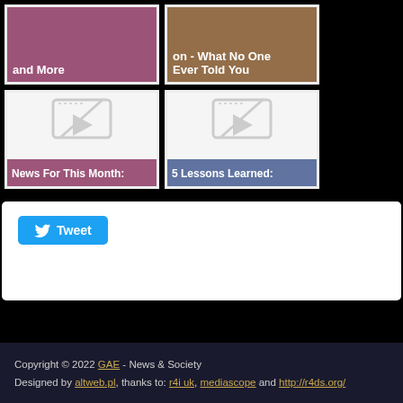[Figure (screenshot): Card with purple background showing text 'and More']
[Figure (screenshot): Card with brown background showing text 'on - What No One Ever Told You']
[Figure (screenshot): Card with mauve background showing tablet icon and label 'News For This Month:']
[Figure (screenshot): Card with blue background showing tablet icon and label '5 Lessons Learned:']
[Figure (screenshot): Tweet button widget area]
Copyright © 2022 GAE - News & Society
Designed by altweb.pl, thanks to: r4i uk, mediascope and http://r4ds.org/